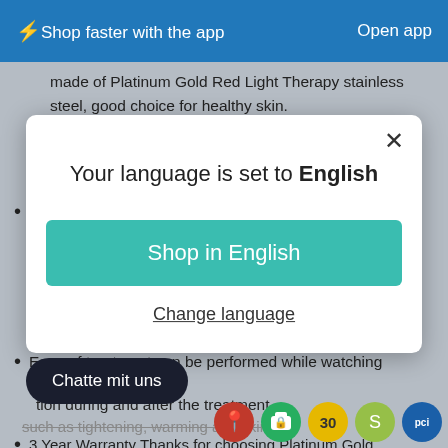⚡ Shop faster with the app    Open app
made of Platinum Gold Red Light Therapy stainless steel, good choice for healthy skin.
Be relieved to use Platinum Gold Red Light Therapy
Your language is set to English
Shop in English
Change language
Ease of treatment can be performed while watching
Chatte mit uns
tion during and after the treatment,
such as tightening, warming and skin care nie
3 Year Warranty Thanks for choosing Platinum Gold